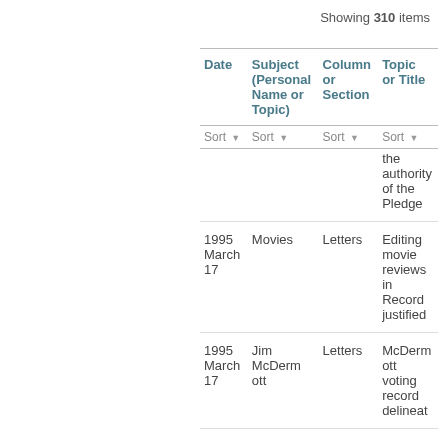Showing 310 items
| Date | Subject (Personal Name or Topic) | Column or Section | Topic or Title |
| --- | --- | --- | --- |
|  |  |  | the authority of the Pledge |
| 1995 March 17 | Movies | Letters | Editing movie reviews in Record justified |
| 1995 March 17 | Jim McDermott | Letters | McDermott voting record delineat |